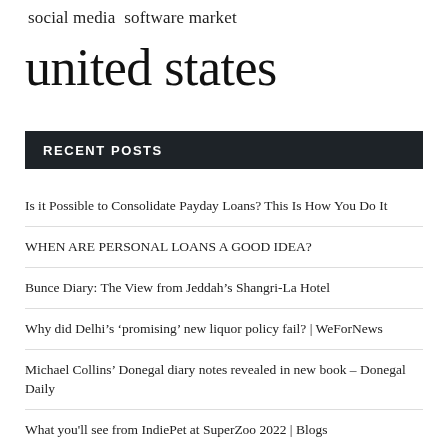social media  software market
united states
RECENT POSTS
Is it Possible to Consolidate Payday Loans? This Is How You Do It
WHEN ARE PERSONAL LOANS A GOOD IDEA?
Bunce Diary: The View from Jeddah’s Shangri-La Hotel
Why did Delhi’s ‘promising’ new liquor policy fail? | WeForNews
Michael Collins’ Donegal diary notes revealed in new book – Donegal Daily
What you'll see from IndiePet at SuperZoo 2022 | Blogs